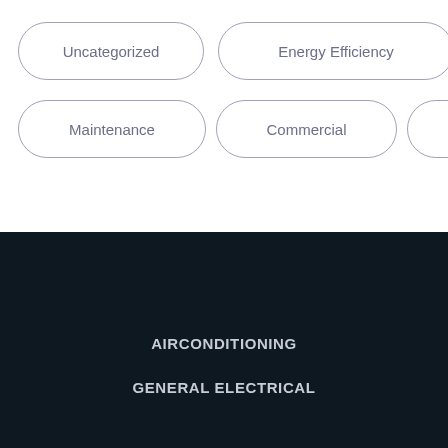Uncategorized
Energy Efficiency
Maintenance
Commercial
Residential
AIRCONDITIONING
GENERAL ELECTRICAL